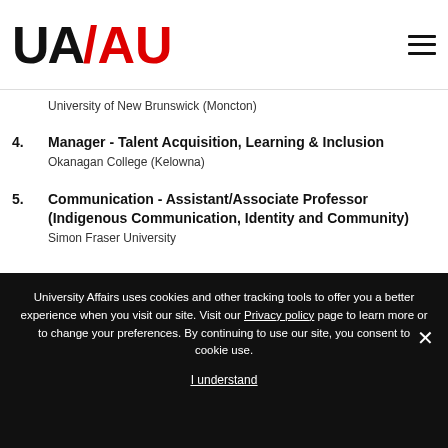UA/AU logo and navigation menu
University of New Brunswick (Moncton)
4. Manager - Talent Acquisition, Learning & Inclusion
Okanagan College (Kelowna)
5. Communication - Assistant/Associate Professor (Indigenous Communication, Identity and Community)
Simon Fraser University
University Affairs uses cookies and other tracking tools to offer you a better experience when you visit our site. Visit our Privacy policy page to learn more or to change your preferences. By continuing to use our site, you consent to cookie use.
I understand